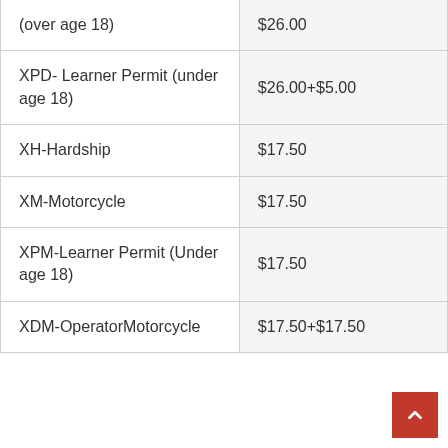| License Type | Fee |
| --- | --- |
| (over age 18) | $26.00 |
| XPD- Learner Permit (under age 18) | $26.00+$5.00 |
| XH-Hardship | $17.50 |
| XM-Motorcycle | $17.50 |
| XPM-Learner Permit (Under age 18) | $17.50 |
| XDM-OperatorMotorcycle | $17.50+$17.50 |